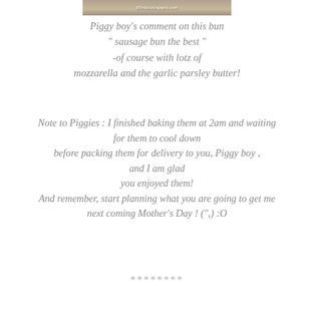[Figure (photo): Cropped photo of baked bun with watermark text 'Elinluv.blogspot.com']
Piggy boy's comment on this bun " sausage bun the best " -of course with lotz of mozzarella and the garlic parsley butter!
Note to Piggies : I finished baking them at 2am and waiting for them to cool down before packing them for delivery to you, Piggy boy , and I am glad you enjoyed them! And remember, start planning what you are going to get me next coming Mother's Day ! (",) :O
********